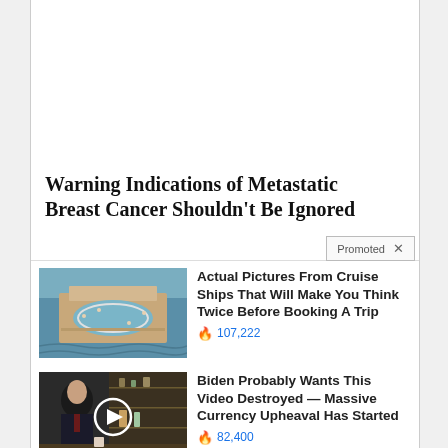Warning Indications of Metastatic Breast Cancer Shouldn't Be Ignored
Promoted ×
[Figure (photo): Aerial view of a cruise ship deck and ocean]
Actual Pictures From Cruise Ships That Will Make You Think Twice Before Booking A Trip
🔥 107,222
[Figure (screenshot): Video thumbnail showing a person at a news desk with play button overlay]
Biden Probably Wants This Video Destroyed — Massive Currency Upheaval Has Started
🔥 82,400